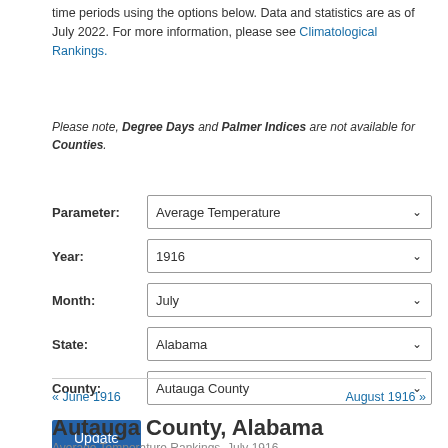time periods using the options below. Data and statistics are as of July 2022. For more information, please see Climatological Rankings.
Please note, Degree Days and Palmer Indices are not available for Counties.
Parameter: Average Temperature
Year: 1916
Month: July
State: Alabama
County: Autauga County
Update
« June 1916
August 1916 »
Autauga County, Alabama
Average Temperature Rankings, July 1916